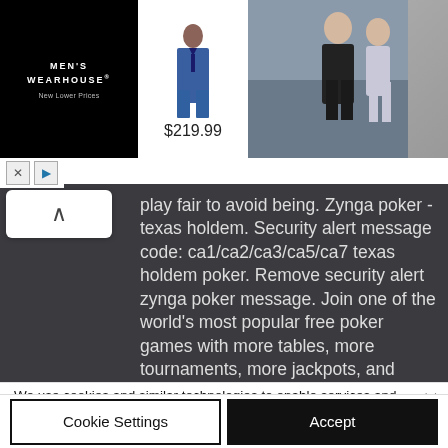[Figure (screenshot): Men's Wearhouse advertisement banner showing a man in a blue suit, price $219.99, and a couple in formal wear on the right side. Black background on left with logo text.]
play fair to avoid being. Zynga poker - texas holdem. Security alert message code: ca1/ca2/ca3/ca5/ca7 texas holdem poker. Remove security alert zynga poker message. Join one of the world's most popular free poker games with more tables, more tournaments, more jackpots, and more players to challenge than ever before! Free
We use cookies and similar technologies to enable services and functionality on our site and to understand your interaction with our service. By clicking on accept, you agree to our use of such technologies for marketing and analytics. See Privacy Policy